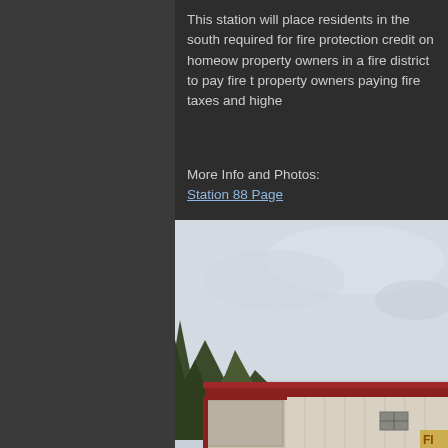This station will place residents in the south required for fire protection credit on homeo property owners in a fire district to pay fire t property owners paying fire taxes and highe
More Info and Photos:
Station 88 Page
[Figure (photo): Photo of a fire station building with a red roof trim, beige/white vertical siding, large garage door, and tall green trees in the background against an overcast sky.]